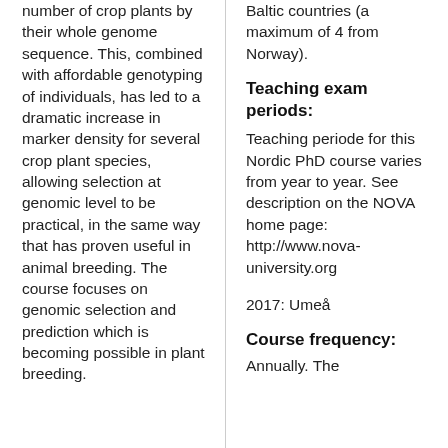number of crop plants by their whole genome sequence. This, combined with affordable genotyping of individuals, has led to a dramatic increase in marker density for several crop plant species, allowing selection at genomic level to be practical, in the same way that has proven useful in animal breeding. The course focuses on genomic selection and prediction which is becoming possible in plant breeding.
Baltic countries (a maximum of 4 from Norway).
Teaching exam periods:
Teaching periode for this Nordic PhD course varies from year to year. See description on the NOVA home page: http://www.nova-university.org
2017: Umeå
Course frequency:
Annually. The